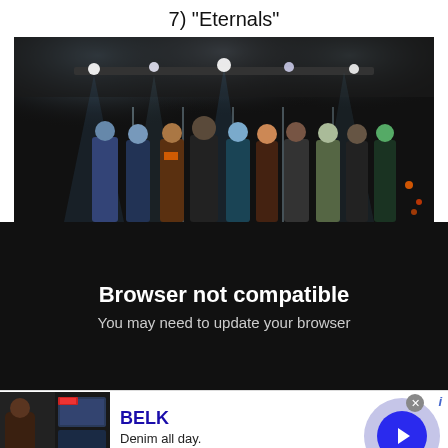7) "Eternals"
[Figure (photo): Scene from Eternals movie showing the ensemble cast of superheroes standing in a row on a dark stage with dramatic spotlights behind them.]
Browser not compatible
You may need to update your browser
[Figure (infographic): Advertisement banner for BELK with tagline 'Denim all day.' and URL www.belk.com, featuring a play button circle on the right.]